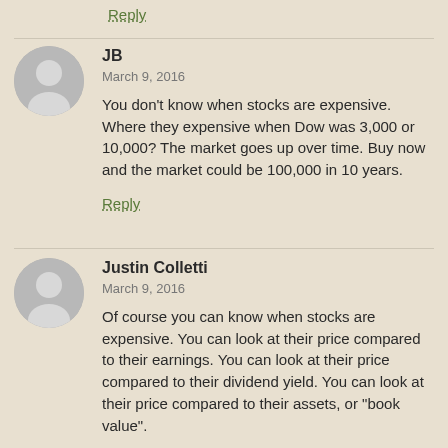Reply
JB
March 9, 2016

You don't know when stocks are expensive. Where they expensive when Dow was 3,000 or 10,000? The market goes up over time. Buy now and the market could be 100,000 in 10 years.
Reply
Justin Colletti
March 9, 2016

Of course you can know when stocks are expensive. You can look at their price compared to their earnings. You can look at their price compared to their dividend yield. You can look at their price compared to their assets, or "book value".

This is very basic stuff. The idea that a person can't tell when stocks are overvalued is simply absurd. If you really believe that, it only means